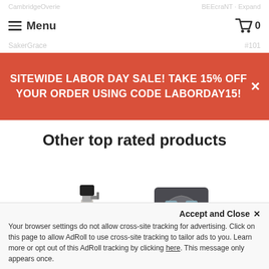Menu  |  0
SITEWIDE LABOR DAY SALE! TAKE 15% OFF YOUR ORDER USING CODE LABORDAY15!
Other top rated products
[Figure (photo): Product carousel showing Room Spray-Sw... with 5 stars (280 reviews), Auto Vent Clip-S... with 4.5 stars (190 reviews), and a partially visible third product with stars.]
Accept and Close ✕
Your browser settings do not allow cross-site tracking for advertising. Click on this page to allow AdRoll to use cross-site tracking to tailor ads to you. Learn more or opt out of this AdRoll tracking by clicking here. This message only appears once.